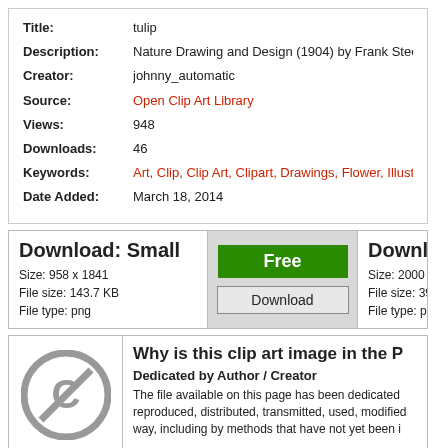| Field | Value |
| --- | --- |
| Title: | tulip |
| Description: | Nature Drawing and Design (1904) by Frank Steeley |
| Creator: | johnny_automatic |
| Source: | Open Clip Art Library |
| Views: | 948 |
| Downloads: | 46 |
| Keywords: | Art, Clip, Clip Art, Clipart, Drawings, Flower, Illustrations, Plan… |
| Date Added: | March 18, 2014 |
Download: Small
Size: 958 x 1841
File size: 143.7 KB
File type: png
Free
Download
Download: La…
Size: 2000 x 3843
File size: 390.2 KB
File type: png
[Figure (illustration): Creative Commons zero / public domain icon — grey circle with C and slash]
Why is this clip art image in the P…
Dedicated by Author / Creator
The file available on this page has been dedicated… reproduced, distributed, transmitted, used, modified… way, including by methods that have not yet been i…
[Figure (logo): Open Clip Art Library orange logo]
Where is this clip art image from…
Open Clip Art Library [external link icon]